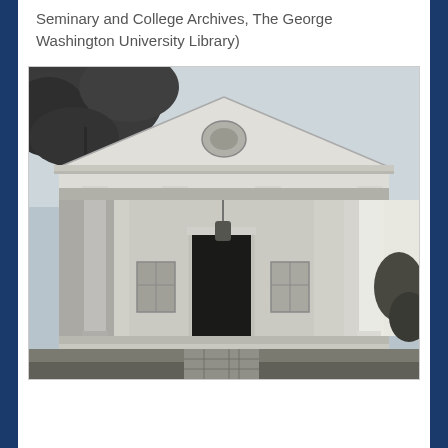Seminary and College Archives, The George Washington University Library)
[Figure (photo): Black and white photograph of a neoclassical building entrance with a triangular pediment, circular window in the tympanum, four tall white columns forming a portico, a hanging lantern above the front door, and a brick walkway leading to the entrance. Trees are visible in the upper left corner.]